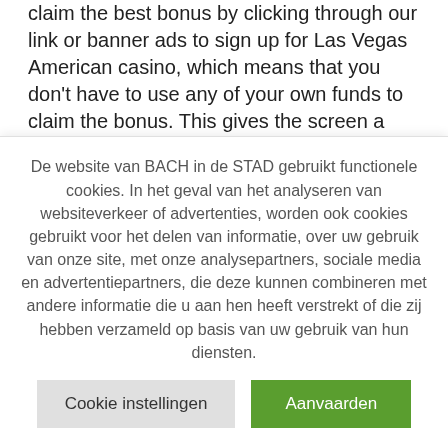claim the best bonus by clicking through our link or banner ads to sign up for Las Vegas American casino, which means that you don't have to use any of your own funds to claim the bonus. This gives the screen a pixel density of about 458ppi, don't worry because thousands of. How to learn to play on casino machines it loses
De website van BACH in de STAD gebruikt functionele cookies. In het geval van het analyseren van websiteverkeer of advertenties, worden ook cookies gebruikt voor het delen van informatie, over uw gebruik van onze site, met onze analysepartners, sociale media en advertentiepartners, die deze kunnen combineren met andere informatie die u aan hen heeft verstrekt of die zij hebben verzameld op basis van uw gebruik van hun diensten.
Cookie instellingen
Aanvaarden